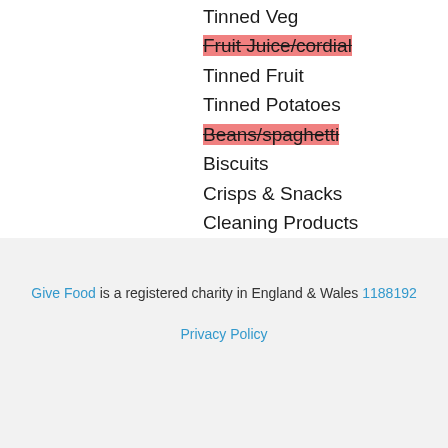Tinned Veg
Fruit Juice/cordial
Tinned Fruit
Tinned Potatoes
Beans/spaghetti
Biscuits
Crisps & Snacks
Cleaning Products
Toiletries
Give Food is a registered charity in England & Wales 1188192 Privacy Policy